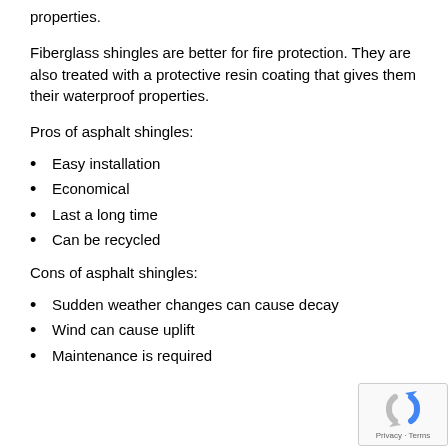properties.
Fiberglass shingles are better for fire protection. They are also treated with a protective resin coating that gives them their waterproof properties.
Pros of asphalt shingles:
Easy installation
Economical
Last a long time
Can be recycled
Cons of asphalt shingles:
Sudden weather changes can cause decay
Wind can cause uplift
Maintenance is required